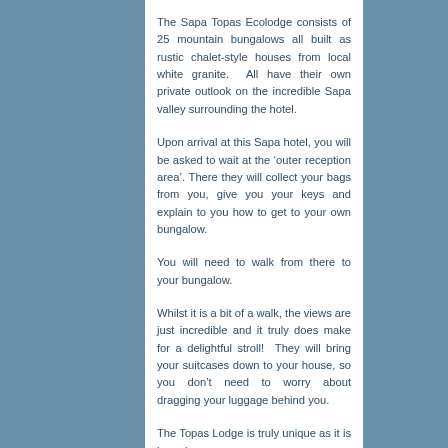The Sapa Topas Ecolodge consists of 25 mountain bungalows all built as rustic chalet-style houses from local white granite. All have their own private outlook on the incredible Sapa valley surrounding the hotel.
Upon arrival at this Sapa hotel, you will be asked to wait at the 'outer reception area'. There they will collect your bags from you, give you your keys and explain to you how to get to your own bungalow.
You will need to walk from there to your bungalow.
Whilst it is a bit of a walk, the views are just incredible and it truly does make for a delightful stroll! They will bring your suitcases down to your house, so you don't need to worry about dragging your luggage behind you.
The Topas Lodge is truly unique as it is based